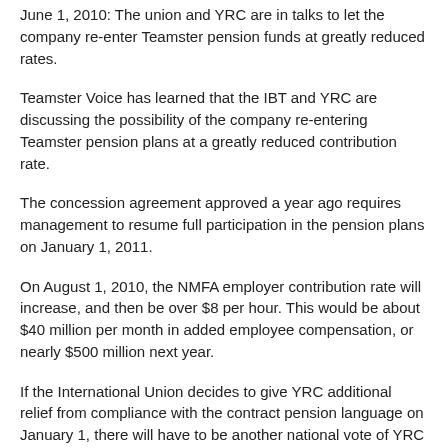June 1, 2010: The union and YRC are in talks to let the company re-enter Teamster pension funds at greatly reduced rates.
Teamster Voice has learned that the IBT and YRC are discussing the possibility of the company re-entering Teamster pension plans at a greatly reduced contribution rate.
The concession agreement approved a year ago requires management to resume full participation in the pension plans on January 1, 2011.
On August 1, 2010, the NMFA employer contribution rate will increase, and then be over $8 per hour. This would be about $40 million per month in added employee compensation, or nearly $500 million next year.
If the International Union decides to give YRC additional relief from compliance with the contract pension language on January 1, there will have to be another national vote of YRC Teamsters to approve that deal.
The International Union has formed two joint committees with management to discuss the future of YRC pensions. They are considering giving YRC a break on the pension